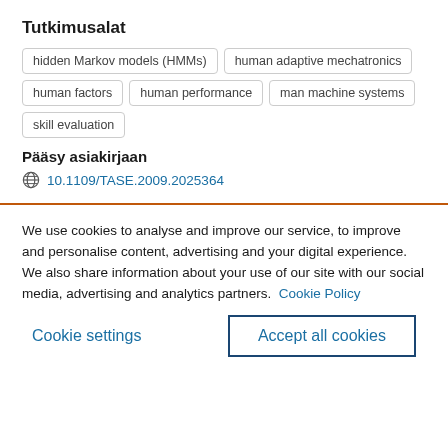Tutkimusalat
hidden Markov models (HMMs)
human adaptive mechatronics
human factors
human performance
man machine systems
skill evaluation
Pääsy asiakirjaan
10.1109/TASE.2009.2025364
We use cookies to analyse and improve our service, to improve and personalise content, advertising and your digital experience. We also share information about your use of our site with our social media, advertising and analytics partners.  Cookie Policy
Cookie settings
Accept all cookies